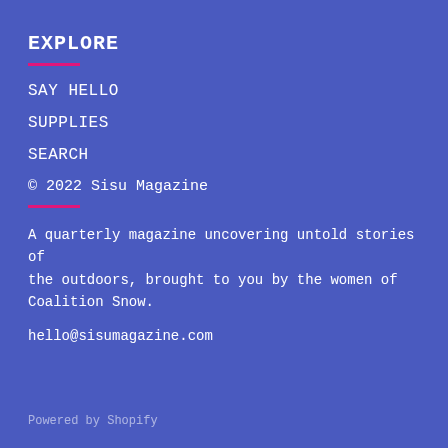EXPLORE
SAY HELLO
SUPPLIES
SEARCH
© 2022 Sisu Magazine
A quarterly magazine uncovering untold stories of the outdoors, brought to you by the women of Coalition Snow.
hello@sisumagazine.com
Powered by Shopify